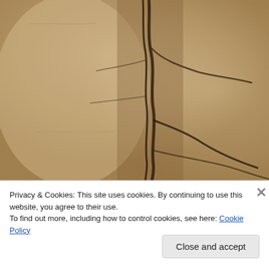[Figure (photo): Close-up photograph of a sandy/granite rock surface with dark black cracks and fissures running vertically and diagonally across the surface, resembling tree root or lightning patterns on beige/tan stone.]
Privacy & Cookies: This site uses cookies. By continuing to use this website, you agree to their use.
To find out more, including how to control cookies, see here: Cookie Policy
Close and accept